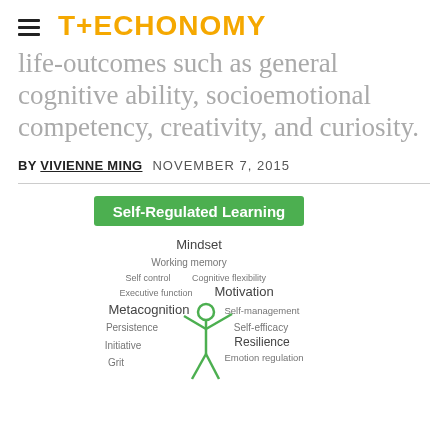TECHONOMY
life-outcomes such as general cognitive ability, socioemotional competency, creativity, and curiosity.
BY VIVIENNE MING  NOVEMBER 7, 2015
[Figure (infographic): Self-Regulated Learning word cloud/diagram with a stick figure (green), surrounded by terms: Mindset, Working memory, Self control, Cognitive flexibility, Executive function, Motivation, Metacognition, Self-management, Persistence, Self-efficacy, Resilience, Initiative, Emotion regulation, Grit]